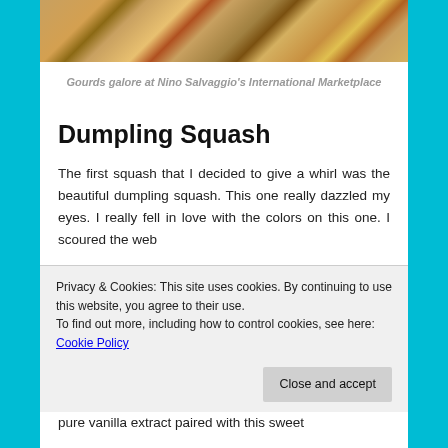[Figure (photo): Gourds and squash in a basket at a marketplace, showing colorful autumn vegetables with leaves]
Gourds galore at Nino Salvaggio's International Marketplace
Dumpling Squash
The first squash that I decided to give a whirl was the beautiful dumpling squash. This one really dazzled my eyes. I really fell in love with the colors on this one. I scoured the web
Privacy & Cookies: This site uses cookies. By continuing to use this website, you agree to their use.
To find out more, including how to control cookies, see here: Cookie Policy
pure vanilla extract paired with this sweet